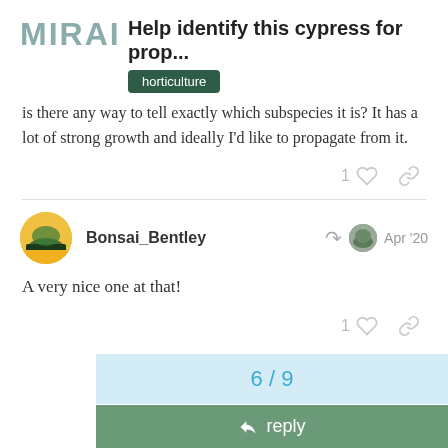MIRAI — Help identify this cypress for prop... horticulture
is there any way to tell exactly which subspecies it is? It has a lot of strong growth and ideally I'd like to propagate from it.
Bonsai_Bentley   Apr '20
A very nice one at that!
6 / 9
reply